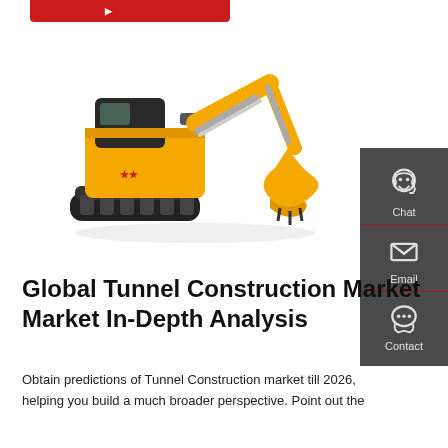[Figure (photo): Yellow mini excavator/construction machine on white background, with black tracks and hydraulic arm with bucket attachment]
[Figure (infographic): Dark grey side panel with Chat (headset icon), Email (envelope icon), and Contact (speech bubble icon) sections separated by red dividers]
Global Tunnel Construction Market Market In-Depth Analysis
Obtain predictions of Tunnel Construction market till 2026, helping you build a much broader perspective. Point out the